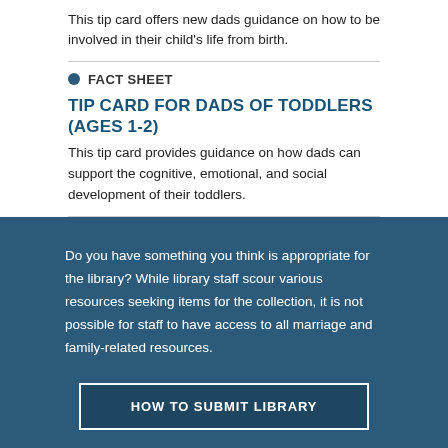This tip card offers new dads guidance on how to be involved in their child's life from birth.
FACT SHEET
TIP CARD FOR DADS OF TODDLERS (AGES 1-2)
This tip card provides guidance on how dads can support the cognitive, emotional, and social development of their toddlers.
Do you have something you think is appropriate for the library? While library staff scour various resources seeking items for the collection, it is not possible for staff to have access to all marriage and family-related resources.
HOW TO SUBMIT LIBRARY